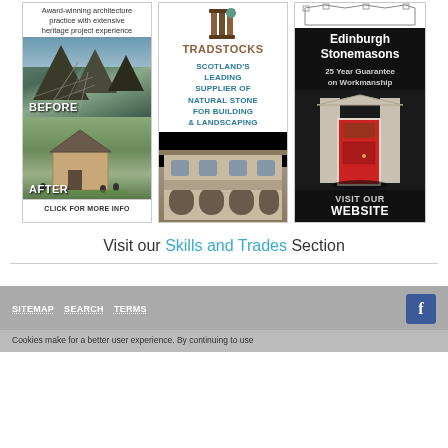[Figure (photo): Advertisement for architecture practice showing before/after heritage project photos. Top text: Award-winning architecture practice with extensive heritage project experience. Before photo: wooden scaffold structure. After photo: restored stone church with visitors. Click for more info button at bottom.]
[Figure (photo): Advertisement for Tradstocks: Scotland's leading supplier of natural stone for building and landscaping. Shows logo and photo of a stone building with arches.]
[Figure (photo): Advertisement for Edinburgh Stonemasons with 25 Year Guarantee on Workmanship. Black background with white text and image of stone doorway with red door. Visit our website.]
Visit our Skills and Trades Section
SITEMAP  SEARCH  TERMS
Cookies make for a better user experience. By continuing to use